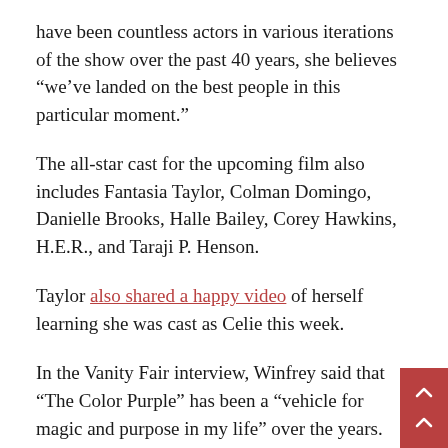have been countless actors in various iterations of the show over the past 40 years, she believes “we’ve landed on the best people in this particular moment.”
The all-star cast for the upcoming film also includes Fantasia Taylor, Colman Domingo, Danielle Brooks, Halle Bailey, Corey Hawkins, H.E.R., and Taraji P. Henson.
Taylor also shared a happy video of herself learning she was cast as Celie this week.
In the Vanity Fair interview, Winfrey said that “The Color Purple” has been a “vehicle for magic and purpose in my life” over the years.
“I don’t know anybody who’s ever been associated with it whose life didn’t get enhanced,” she explained.